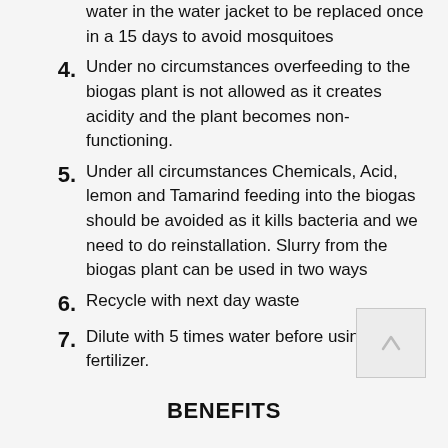water in the water jacket to be replaced once in a 15 days to avoid mosquitoes
4. Under no circumstances overfeeding to the biogas plant is not allowed as it creates acidity and the plant becomes non- functioning.
5. Under all circumstances Chemicals, Acid, lemon and Tamarind feeding into the biogas should be avoided as it kills bacteria and we need to do reinstallation. Slurry from the biogas plant can be used in two ways
6. Recycle with next day waste
7. Dilute with 5 times water before using it as fertilizer.
BENEFITS
1. All organic wastes in a building treated at one place - Provides